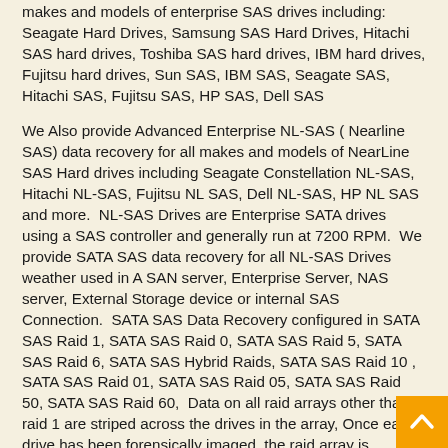makes and models of enterprise SAS drives including: Seagate Hard Drives, Samsung SAS Hard Drives, Hitachi SAS hard drives, Toshiba SAS hard drives, IBM hard drives, Fujitsu hard drives, Sun SAS, IBM SAS, Seagate SAS, Hitachi SAS, Fujitsu SAS, HP SAS, Dell SAS
We Also provide Advanced Enterprise NL-SAS ( Nearline SAS) data recovery for all makes and models of NearLine SAS Hard drives including Seagate Constellation NL-SAS, Hitachi NL-SAS, Fujitsu NL SAS, Dell NL-SAS, HP NL SAS and more.  NL-SAS Drives are Enterprise SATA drives using a SAS controller and generally run at 7200 RPM.  We provide SATA SAS data recovery for all NL-SAS Drives weather used in A SAN server, Enterprise Server, NAS server, External Storage device or internal SAS Connection.  SATA SAS Data Recovery configured in SATA SAS Raid 1, SATA SAS Raid 0, SATA SAS Raid 5, SATA SAS Raid 6, SATA SAS Hybrid Raids, SATA SAS Raid 10 , SATA SAS Raid 01, SATA SAS Raid 05, SATA SAS Raid 50, SATA SAS Raid 60,  Data on all raid arrays other that raid 1 are striped across the drives in the array, Once each drive has been forensically imaged, the raid array is reconstructed from the imaged drives.  De-striping data recovery is the preformed on the array and the data then reconstructed into single file format.  The data files then can be copied to a single drive.  Whether a raid 5 data...
[Figure (other): Back to top button — orange square with white upward-pointing chevron arrow]